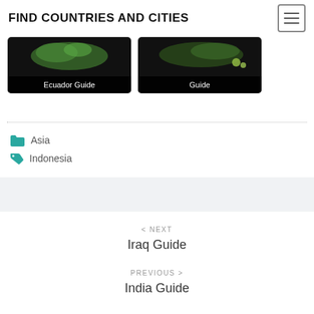FIND COUNTRIES AND CITIES
[Figure (screenshot): Two guide card thumbnails: 'Ecuador Guide' and another Guide, with dark map imagery on black backgrounds]
Asia
Indonesia
< NEXT
Iraq Guide
PREVIOUS >
India Guide